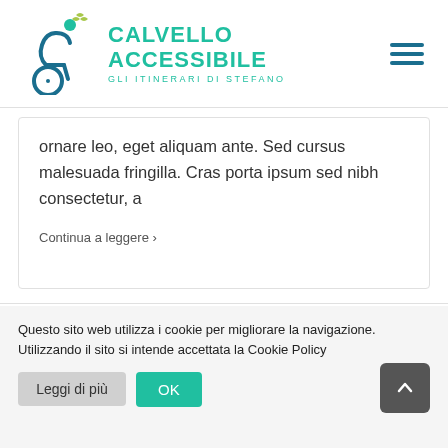[Figure (logo): Calvello Accessibile logo with wheelchair figure and text 'CALVELLO ACCESSIBILE - GLI ITINERARI DI STEFANO']
ornare leo, eget aliquam ante. Sed cursus malesuada fringilla. Cras porta ipsum sed nibh consectetur, a
Continua a leggere >
Questo sito web utilizza i cookie per migliorare la navigazione. Utilizzando il sito si intende accettata la Cookie Policy